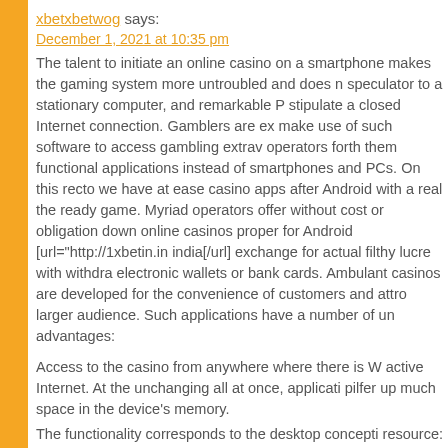xbetxbetwog says:
December 1, 2021 at 10:35 pm
The talent to initiate an online casino on a smartphone makes the gaming system more untroubled and does not bind the speculator to a stationary computer, and remarkable PC stipulate a closed Internet connection. Gamblers are ex make use of such software to access gambling extrav operators forth them functional applications instead of smartphones and PCs. On this recto we have at ease casino apps after Android with a real the ready game. Myriad operators offer without cost or obligation down online casinos proper for Android [url="http://1xbetin.in india[/url] exchange for actual filthy lucre with withdra electronic wallets or bank cards. Ambulant casinos are developed for the convenience of customers and attr larger audience. Such applications have a number of un advantages:
Access to the casino from anywhere where there is W active Internet. At the unchanging all at once, applicati pilfer up much space in the device's memory.
The functionality corresponds to the desktop concepti resource: you can arouse bonuses, participate in tourna in your account, fritz groove machines pro legal tende